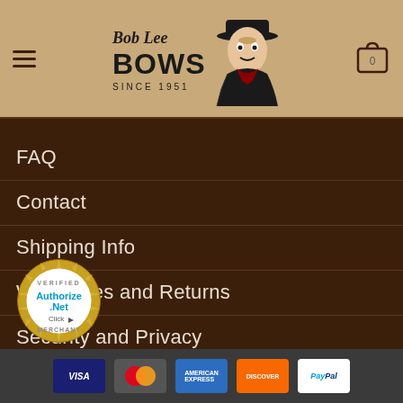Bob Lee Bows - Since 1951
FAQ
Contact
Shipping Info
Warranties and Returns
Security and Privacy
[Figure (logo): Authorize.Net Verified Merchant seal badge with gold starburst border]
Visa, Mastercard, American Express, Discover, PayPal payment icons